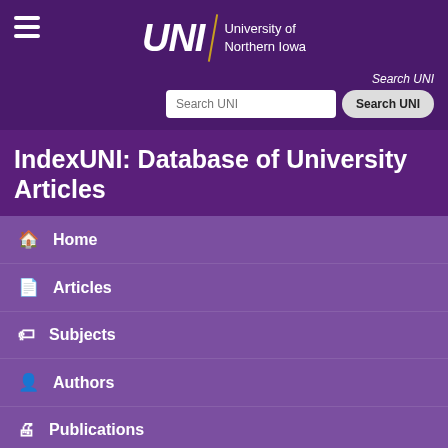UNI University of Northern Iowa
IndexUNI: Database of University Articles
Home
Articles
Subjects
Authors
Publications
Nellor--Patricia Joanne (Class of 1954)